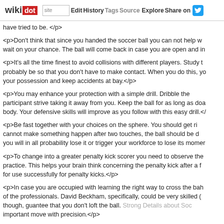wikidot | site Edit History Tags Source Explore Share on [Twitter]
have tried to be. </p>
<p>Don't think that since you handed the soccer ball you can not help w... wait on your chance. The ball will come back in case you are open and in...
<p>It's all the time finest to avoid collisions with different players. Study t... probably be so that you don't have to make contact. When you do this, yo... your possession and keep accidents at bay.</p>
<p>You may enhance your protection with a simple drill. Dribble the... participant strive taking it away from you. Keep the ball for as long as doa... body. Your defensive skills will improve as you follow with this easy drill.</...
<p>Be fast together with your choices on the sphere. You should get ri... cannot make something happen after two touches, the ball should be d... you will in all probability lose it or trigger your workforce to lose its momen...
<p>To change into a greater penalty kick scorer you need to observe the... practice. This helps your brain think concerning the penalty kick after a f... for use successfully for penalty kicks.</p>
<p>In case you are occupied with learning the right way to cross the bal... of the professionals. David Beckham, specifically, could be very skilled ... though, guantee that you don't loft the ball. Strong Details about Soc... important move with precision.</p>
<p>It;s crucial that you simply develop an excellent sense of orientation i... and having good orientation whereas taking part in is hard. Know where y... gain a better perspective. This also helps you higher plan your next move